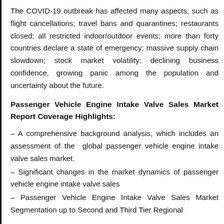The COVID-19 outbreak has affected many aspects, such as flight cancellations; travel bans and quarantines; restaurants closed; all restricted indoor/outdoor events; more than forty countries declare a state of emergency; massive supply chain slowdown; stock market volatility; declining business confidence, growing panic among the population and uncertainty about the future.
Passenger Vehicle Engine Intake Valve Sales Market Report Coverage Highlights:
– A comprehensive background analysis, which includes an assessment of the global passenger vehicle engine intake valve sales market.
– Significant changes in the market dynamics of passenger vehicle engine intake valve sales
– Passenger Vehicle Engine Intake Valve Sales Market Segmentation up to Second and Third Tier Regional Differentiation